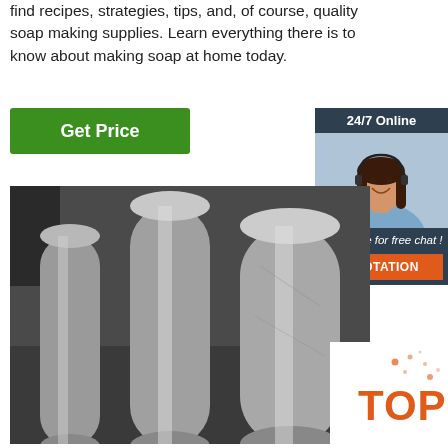find recipes, strategies, tips, and, of course, quality soap making supplies. Learn everything there is to know about making soap at home today.
[Figure (other): Green 'Get Price' button]
[Figure (other): 24/7 Online chat widget with woman wearing headset, 'Click here for free chat!' text and orange QUOTATION button]
[Figure (photo): Photo of steel/aluminum round bars/rods stacked together]
[Figure (other): TOP badge with orange dots in bottom right corner]